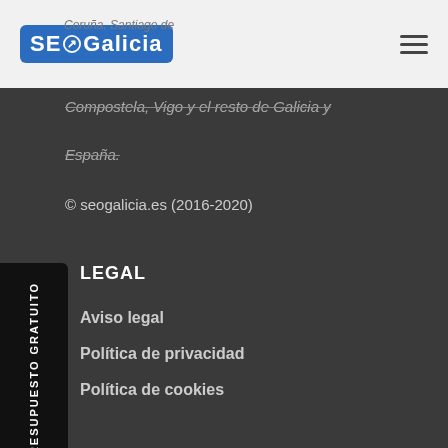SEO Galicia — header with logo and hamburger menu
Compostela, Vigo y el resto de Galicia y España.
© seogalicia.es (2016-2020)
PRESUPUESTO GRATUITO
LEGAL
Aviso legal
Política de privacidad
Política de cookies